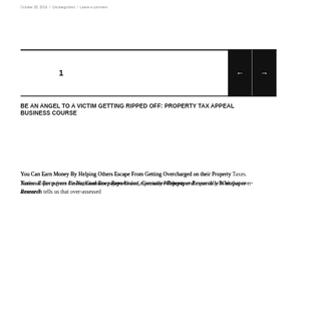October 28, 2016 / Uncategorized / Leave a comment
[Figure (other): Slideshow widget showing slide number 1 with left and right navigation arrow buttons on black background, bordered by two horizontal black rules]
BE AN ANGEL TO A VICTIM GETTING RIPPED OFF: PROPERTY TAX APPEAL BUSINESS COURSE
You Can Earn Money By Helping Others Escape From Getting Overcharged on their Property Taxes.  Experts from the National Tax payers Union, Consumer Reports and especially Whitepaper Research tells us that over-assessed